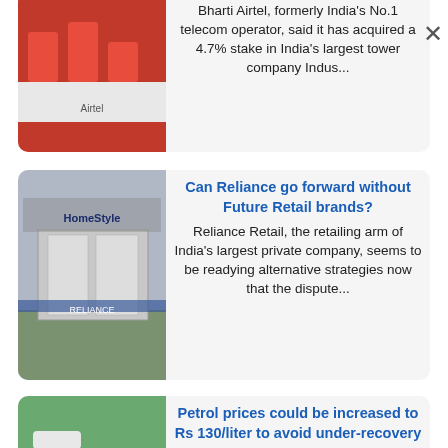Bharti Airtel, formerly India's No.1 telecom operator, said it has acquired a 4.7% stake in India's largest tower company Indus...
Can Reliance go forward without Future Retail brands?
Reliance Retail, the retailing arm of India's largest private company, seems to be readying alternative strategies now that the dispute...
Petrol prices could be increased to Rs 130/liter to avoid under-recovery
State-owned oil companies such as Indian Oil, Bharat Petroleum Corporation and Bharat Petroleum are facing an under-recovery of Rs 12-15...